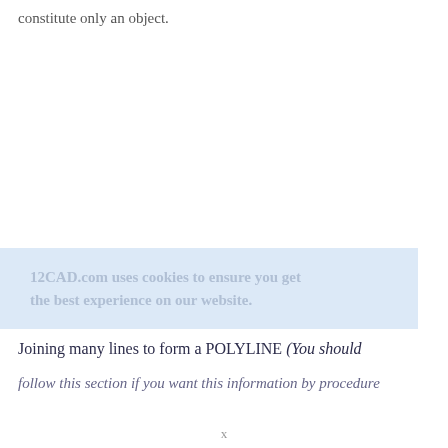constitute only an object.
12CAD.com uses cookies to ensure you get the best experience on our website.
Joining many lines to form a POLYLINE (You should
follow this section if you want this information by procedure
x